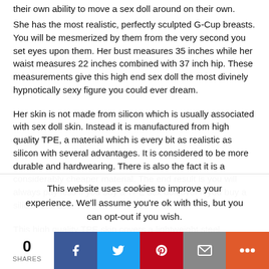their own ability to move a sex doll around on their own.
She has the most realistic, perfectly sculpted G-Cup breasts. You will be mesmerized by them from the very second you set eyes upon them. Her bust measures 35 inches while her waist measures 22 inches combined with 37 inch hip. These measurements give this high end sex doll the most divinely hypnotically sexy figure you could ever dream.
Her skin is not made from silicon which is usually associated with sex doll skin. Instead it is manufactured from high quality TPE, a material which is every bit as realistic as silicon with several advantages. It is considered to be more durable and hardwearing. There is also the fact it is a considerably cheaper material. The end result is you will always pay less if you buy a TPE sex doll over if you buy a silicon sex doll.
This high quality TPE skin covers a lightweight steel skeleton. A
This website uses cookies to improve your experience. We'll assume you're ok with this, but you can opt-out if you wish.
0 SHARES | Facebook | Twitter | Pinterest | Email | More